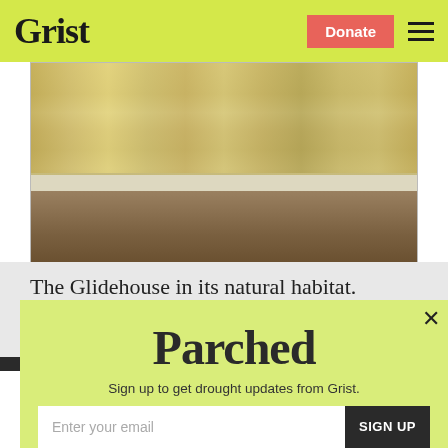Grist — Donate
[Figure (photo): Exterior photo of the Glidehouse, a modern prefab home with large glass panels, outdoor deck, potted plants, and natural surroundings.]
The Glidehouse in its natural habitat.
Parched
Sign up to get drought updates from Grist.
Enter your email  SIGN UP
No thanks